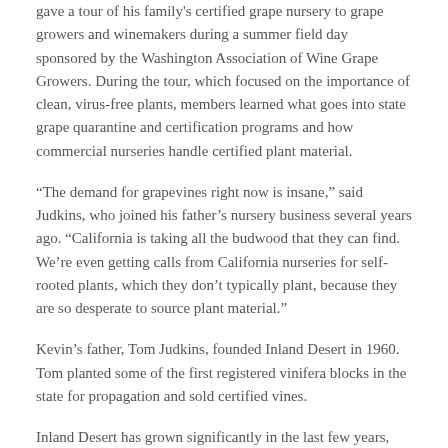gave a tour of his family's certified grape nursery to grape growers and winemakers during a summer field day sponsored by the Washington Association of Wine Grape Growers. During the tour, which focused on the importance of clean, virus-free plants, members learned what goes into state grape quarantine and certification programs and how commercial nurseries handle certified plant material.
“The demand for grapevines right now is insane,” said Judkins, who joined his father’s nursery business several years ago. “California is taking all the budwood that they can find. We’re even getting calls from California nurseries for self-rooted plants, which they don’t typically plant, because they are so desperate to source plant material.”
Kevin’s father, Tom Judkins, founded Inland Desert in 1960. Tom planted some of the first registered vinifera blocks in the state for propagation and sold certified vines.
Inland Desert has grown significantly in the last few years, Kevin said, handling upwards of three million self-rooted vines annually and sending them to nearly every state and Canada. “Our goal as a nursery is to be full service and compete with the biggest and